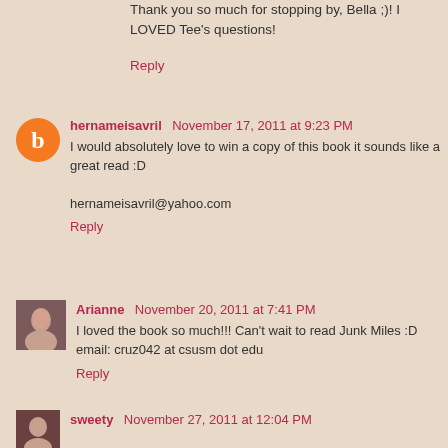Thank you so much for stopping by, Bella ;)! I LOVED Tee's questions!
Reply
hernameisavril  November 17, 2011 at 9:23 PM
I would absolutely love to win a copy of this book it sounds like a great read :D
hernameisavril@yahoo.com
Reply
Arianne  November 20, 2011 at 7:41 PM
I loved the book so much!!! Can't wait to read Junk Miles :D
email: cruz042 at csusm dot edu
Reply
sweety  November 27, 2011 at 12:04 PM